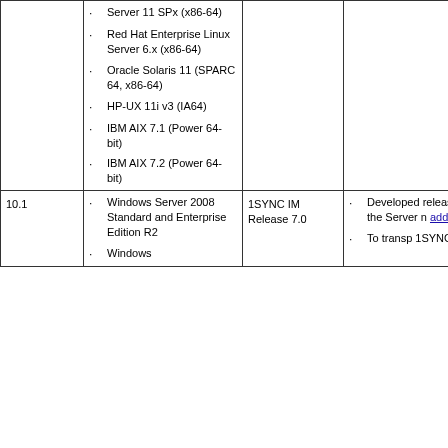| Version | Operating System | Compatible Product | Notes |
| --- | --- | --- | --- |
|  | Server 11 SPx (x86-64)
Red Hat Enterprise Linux Server 6.x (x86-64)
Oracle Solaris 11 (SPARC 64, x86-64)
HP-UX 11i v3 (IA64)
IBM AIX 7.1 (Power 64-bit)
IBM AIX 7.2 (Power 64-bit) |  |  |
| 10.1 | Windows Server 2008 Standard and Enterprise Edition R2
Windows... | 1SYNC IM Release 7.0 | Developed release with the Server n addition
To transp 1SYNC... |